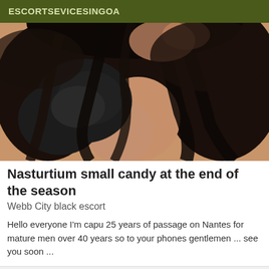ESCORTSEVICESINGOA
[Figure (photo): Close-up photo of a woman with long dark black hair wearing a black top, taken from above angle, hair covering most of the frame]
Nasturtium small candy at the end of the season
Webb City black escort
Hello everyone I'm capu 25 years of passage on Nantes for mature men over 40 years so to your phones gentlemen ... see you soon ...